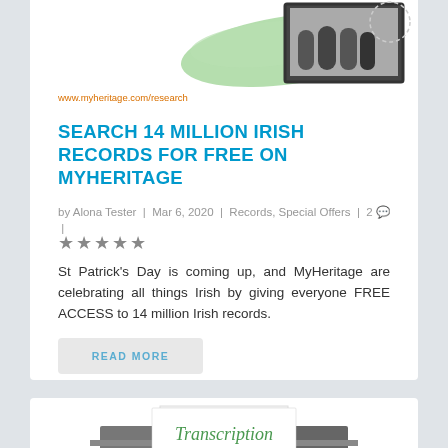[Figure (photo): Header image with green brush stroke and black and white group photo]
www.myheritage.com/research
SEARCH 14 MILLION IRISH RECORDS FOR FREE ON MYHERITAGE
by Alona Tester | Mar 6, 2020 | Records, Special Offers | 2 💬 | ☆☆☆☆☆
St Patrick's Day is coming up, and MyHeritage are celebrating all things Irish by giving everyone FREE ACCESS to 14 million Irish records.
READ MORE
[Figure (photo): Partial view of second article with 'Transcription' text visible]